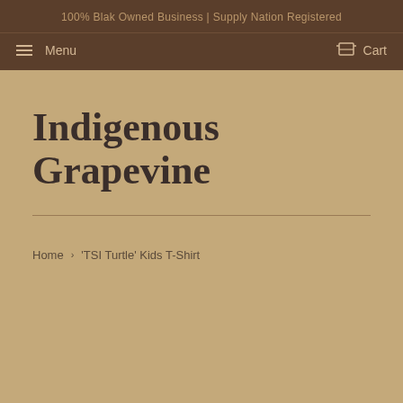100% Blak Owned Business | Supply Nation Registered
Menu  Cart
Indigenous Grapevine
Home › 'TSI Turtle' Kids T-Shirt